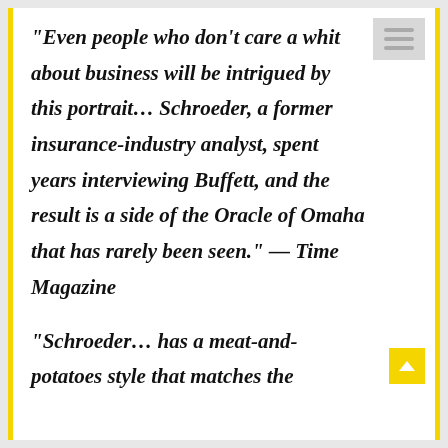“Even people who don’t care a whit about business will be intrigued by this portrait… Schroeder, a former insurance-industry analyst, spent years interviewing Buffett, and the result is a side of the Oracle of Omaha that has rarely been seen.” — Time Magazine
“Schroeder… has a meat-and-potatoes style that matches the